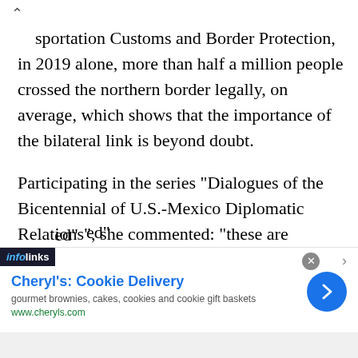...sportation Customs and Border Protection, in 2019 alone, more than half a million people crossed the northern border legally, on average, which shows that the importance of the bilateral link is beyond doubt.
Participating in the series "Dialogues of the Bicentennial of U.S.-Mexico Diplomatic Relations", she commented: "these are decades in which the United States and Mexico are incipient nation-states, and in which the advance for control of the governments in the border regions can be ...ed"
[Figure (other): Infolinks advertisement banner for Cheryl's Cookie Delivery. Shows ad title 'Cheryl's: Cookie Delivery', description 'gourmet brownies, cakes, cookies and cookie gift baskets', URL 'www.cheryls.com', blue circular arrow button, close button.]